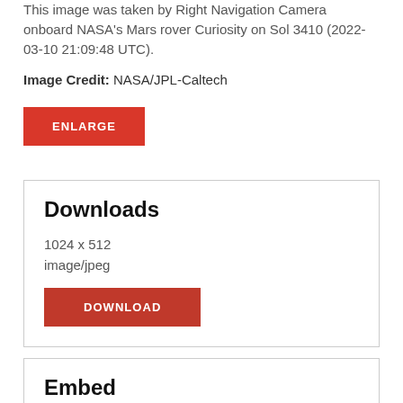This image was taken by Right Navigation Camera onboard NASA's Mars rover Curiosity on Sol 3410 (2022-03-10 21:09:48 UTC).
Image Credit: NASA/JPL-Caltech
ENLARGE
Downloads
1024 x 512
image/jpeg
DOWNLOAD
Embed